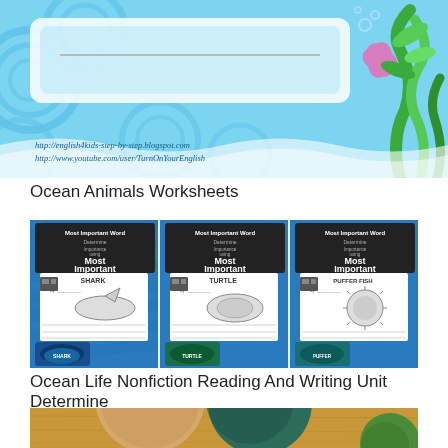[Figure (illustration): Ocean Animals Worksheets banner with blue underwater theme, circular wave patterns, starfish, seaweed, and URL text reading http://english4kids-step-by-step.blogspot.com and http://www.youtube.com/user/TurnOnYourEnglish]
Ocean Animals Worksheets
[Figure (illustration): Three ocean life nonfiction reading and writing worksheets showing 'Determine Importance using Most Important Words' with shark, turtle, and puffer fish worksheets on blue chevron background]
Ocean Life Nonfiction Reading And Writing Unit Determine
[Figure (photo): Close-up photo of colorful clay or play-doh balls on a wooden table surface — tan, dark teal, and green colors visible]